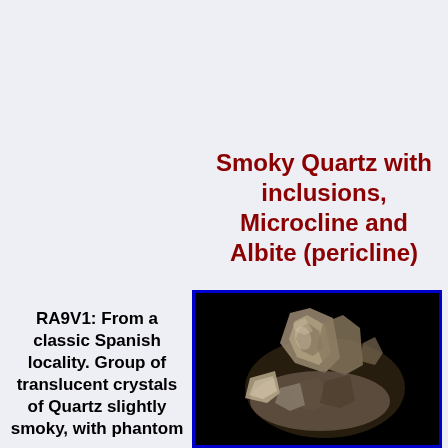Smoky Quartz with inclusions, Microcline and Albite (pericline)
[Figure (photo): Photograph of a group of translucent smoky quartz crystals with microcline and albite, shown against a black background. The specimen is from a classic Spanish locality.]
RA9V1: From a classic Spanish locality. Group of translucent crystals of Quartz slightly smoky, with phantom